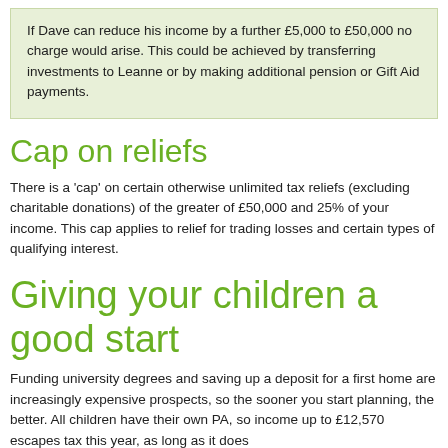If Dave can reduce his income by a further £5,000 to £50,000 no charge would arise. This could be achieved by transferring investments to Leanne or by making additional pension or Gift Aid payments.
Cap on reliefs
There is a 'cap' on certain otherwise unlimited tax reliefs (excluding charitable donations) of the greater of £50,000 and 25% of your income. This cap applies to relief for trading losses and certain types of qualifying interest.
Giving your children a good start
Funding university degrees and saving up a deposit for a first home are increasingly expensive prospects, so the sooner you start planning, the better. All children have their own PA, so income up to £12,570 escapes tax this year, as long as it does